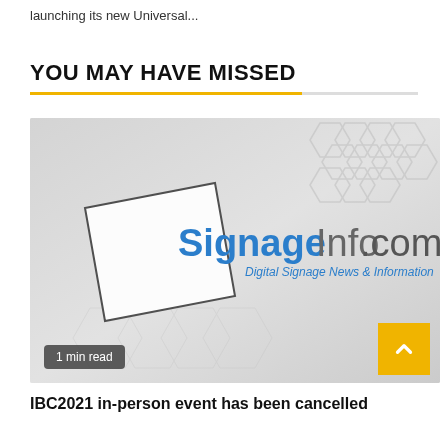launching its new Universal...
YOU MAY HAVE MISSED
[Figure (logo): SignageInfo.com logo — blue bold 'Signage' and grey 'Info.com' wordmark with tagline 'Digital Signage News & Information', on a light grey hexagonal patterned background. Badge reads '1 min read'.]
IBC2021 in-person event has been cancelled